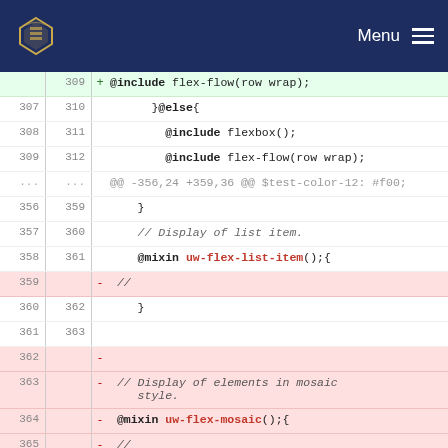Menu
[Figure (screenshot): University of Waterloo logo (shield crest) in top-left of dark navy header bar]
Code diff view showing SCSS changes. Lines 307-368 with additions (green) and removals (red).
309 + @include flex-flow(row wrap);
307 310 }@else{
308 311 @include flexbox();
309 312 @include flex-flow(row wrap);
... ... @@ -356,24 +359,36 @@ $test-color-12: #f00;
356 359 }
357 360 // Display of list item.
358 361 @mixin uw-flex-list-item(){
359 - //
360 362 }
361 363
362 -
363 - // Display of elements in mosaic style.
364 - @mixin uw-flex-mosaic(){
365 - //
366 - }
367 364 // Display of mosiac item.
368 - @mixin uw-flex-mosaic-item(){